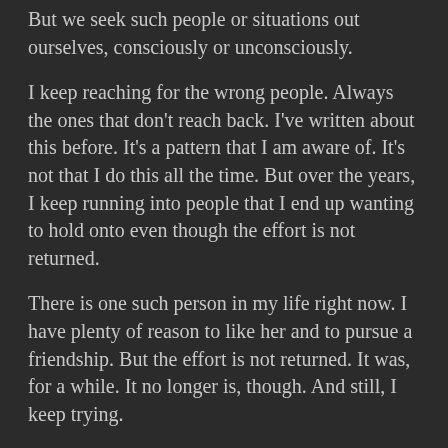But we seek such people or situations out ourselves, consciously or unconsciously.
I keep reaching for the wrong people. Always the ones that don't reach back. I've written about this before. It's a pattern that I am aware of. It's not that I do this all the time. But over the years, I keep running into people that I end up wanting to hold onto even though the effort is not returned.
There is one such person in my life right now. I have plenty of reason to like her and to pursue a friendship. But the effort is not returned. It was, for a while. It no longer is, though. And still, I keep trying.
It takes a lot for me to give up on someone. When I ultimately do give up, it is out of the need to protect myself from hurting any longer. And it's